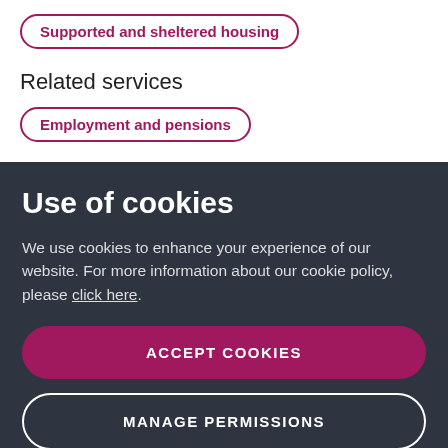Supported and sheltered housing
Related services
Employment and pensions
Use of cookies
We use cookies to enhance your experience of our website. For more information about our cookie policy, please click here.
ACCEPT COOKIES
MANAGE PERMISSIONS